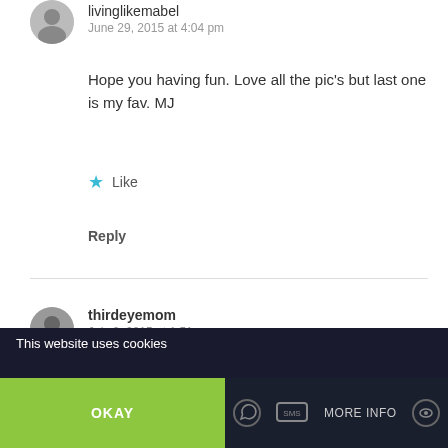livinglikemabel
June 29, 2015 at 4:04 pm
Hope you having fun. Love all the pic's but last one is my fav. MJ
Like
Reply
thirdeyemom
July 2, 2015 at 1:51 pm
This website uses cookies
OKAY
MORE INFO